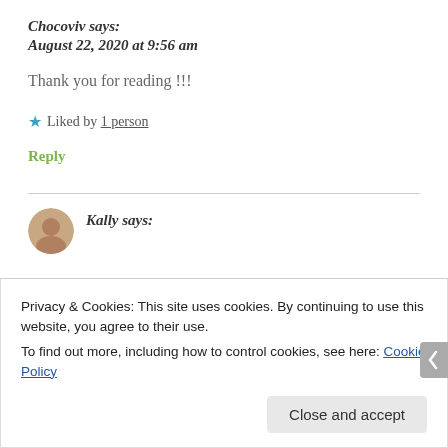Chocoviv says:
August 22, 2020 at 9:56 am
Thank you for reading !!!
★ Liked by 1 person
Reply
Kally says:
Privacy & Cookies: This site uses cookies. By continuing to use this website, you agree to their use.
To find out more, including how to control cookies, see here: Cookie Policy
Close and accept